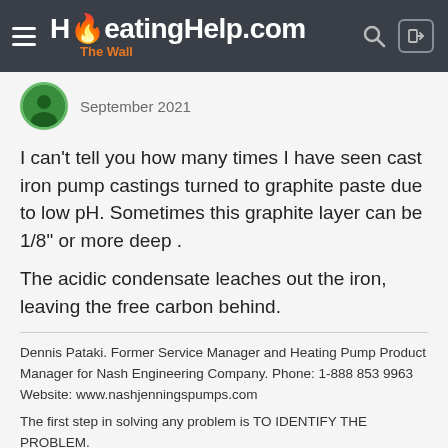HeatingHelp.com The Wall
September 2021
I can't tell you how many times I have seen cast iron pump castings turned to graphite paste due to low pH. Sometimes this graphite layer can be 1/8" or more deep .
The acidic condensate leaches out the iron, leaving the free carbon behind.
Dennis Pataki. Former Service Manager and Heating Pump Product Manager for Nash Engineering Company. Phone: 1-888 853 9963 Website: www.nashjenningspumps.com
The first step in solving any problem is TO IDENTIFY THE PROBLEM.